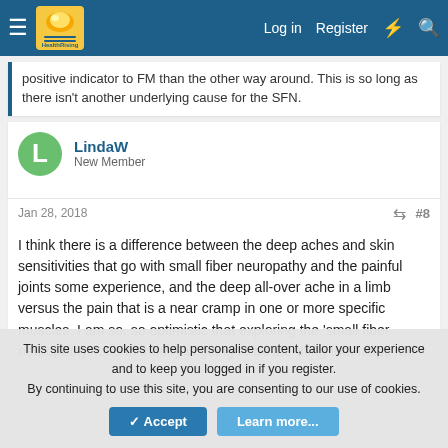HealthRising | Log in | Register
positive indicator to FM than the other way around. This is so long as there isn't another underlying cause for the SFN.
LindaW
New Member
Jan 28, 2018   #8
I think there is a difference between the deep aches and skin sensitivities that go with small fiber neuropathy and the painful joints some experience, and the deep all-over ache in a limb versus the pain that is a near cramp in one or more specific muscles. I am so, so optimistic that exploring the 'small fiber neuropathy' lone of inquiry is going to be the thing that helps me
This site uses cookies to help personalise content, tailor your experience and to keep you logged in if you register.
By continuing to use this site, you are consenting to our use of cookies.